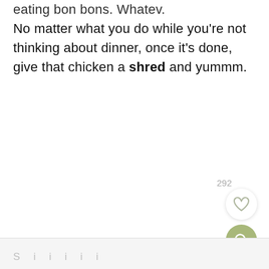eating bon bons. Whatev. No matter what you do while you're not thinking about dinner, once it's done, give that chicken a shred and yummm.
292
[Figure (illustration): Heart (favorite) button - circular white button with heart outline icon]
[Figure (illustration): Search button - circular sage green button with magnifying glass icon]
S ... i ... i ... (partially visible footer text)